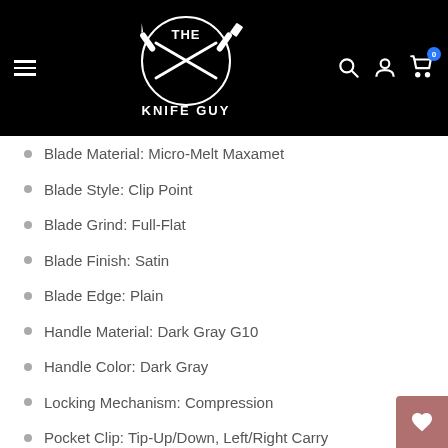[Figure (logo): The Knife Guy logo — crossed knives/cleavers with muscular arm, white on black background, text THE KNIFE GUY]
Blade Material: Micro-Melt Maxamet
Blade Style: Clip Point
Blade Grind: Full-Flat
Blade Finish: Satin
Blade Edge: Plain
Handle Material: Dark Gray G10
Handle Color: Dark Gray
Locking Mechanism: Compression
Pocket Clip: Tip-Up/Down, Left/Right Carry